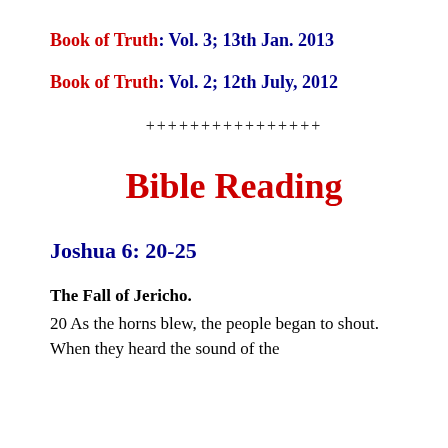Book of Truth: Vol. 3;  13th Jan. 2013
Book of Truth: Vol. 2; 12th July, 2012
++++++++++++++++
Bible Reading
Joshua 6: 20-25
The Fall of Jericho.
20 As the horns blew, the people began to shout. When they heard the sound of the